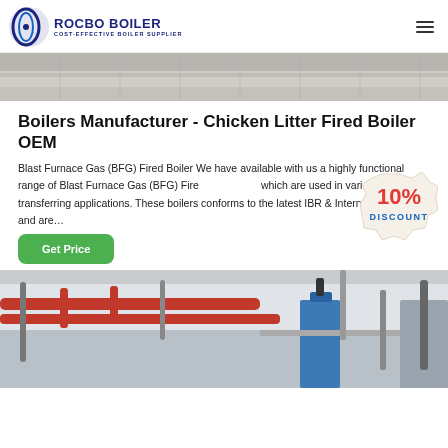[Figure (logo): Rocbo Boiler logo with circular emblem and text 'ROCBO BOILER - COST-EFFECTIVE BOILER SUPPLIER']
[Figure (photo): Top portion of a boiler or industrial equipment, partially visible]
Boilers Manufacturer - Chicken Litter Fired Boiler OEM
Blast Furnace Gas (BFG) Fired Boiler We have available with us a highly functional range of Blast Furnace Gas (BFG) Fired boilers which are used in various heat transferring applications. These boilers conforms to the latest IBR & International code and are…
[Figure (illustration): 10% DISCOUNT badge/stamp overlay on the text area]
[Figure (photo): Industrial boiler interior showing red and gray pipes, blue equipment structure]
Get Price